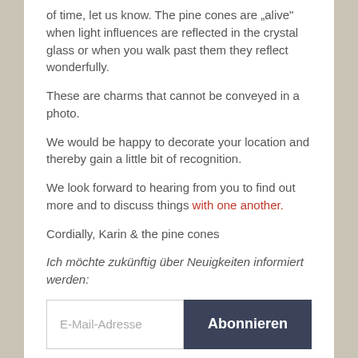of time, let us know. The pine cones are „alive“ when light influences are reflected in the crystal glass or when you walk past them they reflect wonderfully.
These are charms that cannot be conveyed in a photo.
We would be happy to decorate your location and thereby gain a little bit of recognition.
We look forward to hearing from you to find out more and to discuss things with one another.
Cordially, Karin & the pine cones
Ich möchte zukünftig über Neuigkeiten informiert werden:
[Figure (other): Email subscription form with an E-Mail-Adresse input field and an Abonnieren (Subscribe) button]